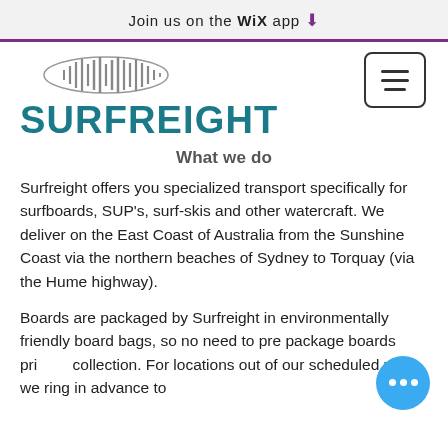Join us on the WiX app ↓
[Figure (logo): Surfreight logo: a sound wave / diamond waveform icon above the text SURFREIGHT in teal]
What we do
Surfreight offers you specialized transport specifically for surfboards, SUP's, surf-skis and other watercraft. We deliver on the East Coast of Australia from the Sunshine Coast via the northern beaches of Sydney to Torquay (via the Hume highway).
Boards are packaged by Surfreight in environmentally friendly board bags, so no need to pre package boards prior to collection. For locations out of our scheduled route we ring in advance to